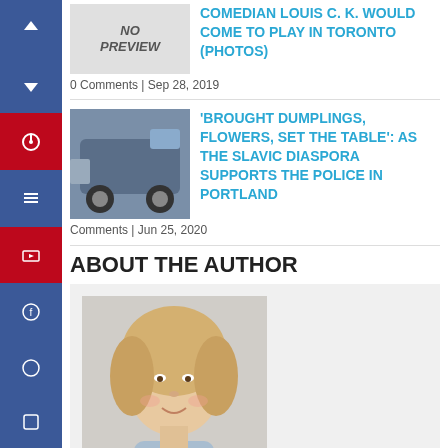[Figure (other): Social media share sidebar buttons on the left edge]
[Figure (photo): No Preview placeholder image box]
COMEDIAN LOUIS C. K. WOULD COME TO PLAY IN TORONTO (PHOTOS)
0 Comments | Sep 28, 2019
[Figure (photo): Thumbnail photo of a car, related to Slavic Diaspora article]
'BROUGHT DUMPLINGS, FLOWERS, SET THE TABLE': AS THE SLAVIC DIASPORA SUPPORTS THE POLICE IN PORTLAND
Comments | Jun 25, 2020
ABOUT THE AUTHOR
[Figure (photo): Photo of Katrine, a blonde woman smiling]
Katrine
Katrine Johns has been a reporter on the news desk since 2012. Before that she wrote about young adolescence